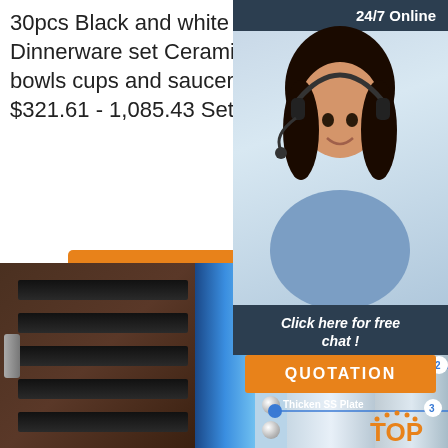30pcs Black and White Simple Bone China Dinnerware set Ceramic Tableware Porcelain plates bowls cups and saucers suit creative Wedding gift US $321.61 - 1,085.43 Set US $321.61 - 1,085.43 Set
[Figure (other): Orange 'Get Price' button]
[Figure (photo): Customer support agent widget with '24/7 Online' header, female agent with headset, 'Click here for free chat!' text, and orange QUOTATION button]
[Figure (photo): Product detail image showing wine cooler shelves on left, blue LED lighting panel with dot pattern in center, and stainless steel panel on right with callout annotations: 'No Fingerprint', '35MM Thickened PU Stuffing (2)', 'Thicken SS Plate (3)', with TOP brand logo]